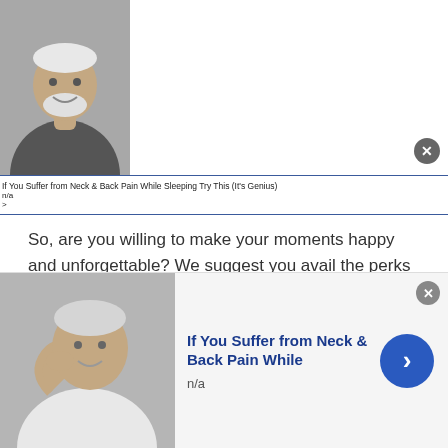[Figure (photo): Elderly man with white hair and beard, top-left corner advertisement photo]
If You Suffer from Neck & Back Pain While Sleeping Try This (It's Genius)
n/a
>
So, are you willing to make your moments happy and unforgettable? We suggest you avail the perks of international or world chat feature at the Talkwithstranger app.
Free conference calls
If you want to make your calling experience worthwhile then try conference calls at the
[Figure (photo): Elderly person holding neck/shoulder in pain, bottom advertisement photo]
If You Suffer from Neck & Back Pain While
n/a